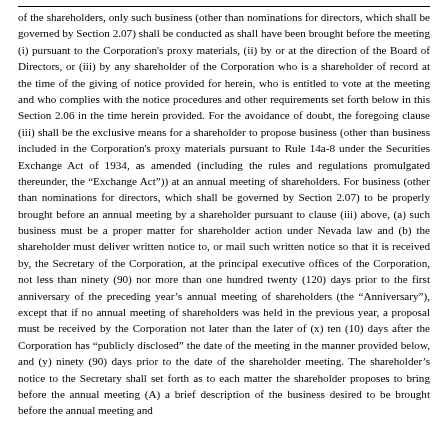of the shareholders, only such business (other than nominations for directors, which shall be governed by Section 2.07) shall be conducted as shall have been brought before the meeting (i) pursuant to the Corporation's proxy materials, (ii) by or at the direction of the Board of Directors, or (iii) by any shareholder of the Corporation who is a shareholder of record at the time of the giving of notice provided for herein, who is entitled to vote at the meeting and who complies with the notice procedures and other requirements set forth below in this Section 2.06 in the time herein provided. For the avoidance of doubt, the foregoing clause (iii) shall be the exclusive means for a shareholder to propose business (other than business included in the Corporation's proxy materials pursuant to Rule 14a-8 under the Securities Exchange Act of 1934, as amended (including the rules and regulations promulgated thereunder, the "Exchange Act")) at an annual meeting of shareholders. For business (other than nominations for directors, which shall be governed by Section 2.07) to be properly brought before an annual meeting by a shareholder pursuant to clause (iii) above, (a) such business must be a proper matter for shareholder action under Nevada law and (b) the shareholder must deliver written notice to, or mail such written notice so that it is received by, the Secretary of the Corporation, at the principal executive offices of the Corporation, not less than ninety (90) nor more than one hundred twenty (120) days prior to the first anniversary of the preceding year's annual meeting of shareholders (the "Anniversary"), except that if no annual meeting of shareholders was held in the previous year, a proposal must be received by the Corporation not later than the later of (x) ten (10) days after the Corporation has "publicly disclosed" the date of the meeting in the manner provided below, and (y) ninety (90) days prior to the date of the shareholder meeting. The shareholder's notice to the Secretary shall set forth as to each matter the shareholder proposes to bring before the annual meeting (A) a brief description of the business desired to be brought before the annual meeting and